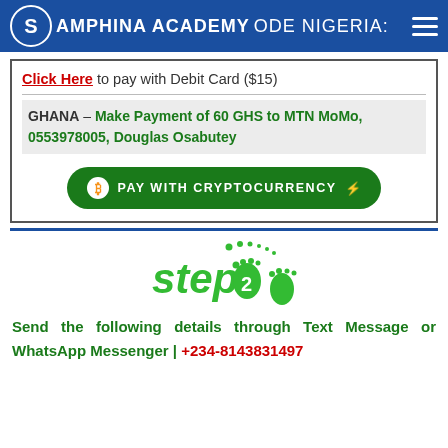SAMPHINA ACADEMY | ODE NIGERIA:
Click Here to pay with Debit Card ($15)
GHANA – Make Payment of 60 GHS to MTN MoMo, 0553978005, Douglas Osabutey
[Figure (other): Green rounded button with Bitcoin icon: PAY WITH CRYPTOCURRENCY]
[Figure (other): Step 2 logo with footprint icon in green]
Send the following details through Text Message or WhatsApp Messenger | +234-8143831497